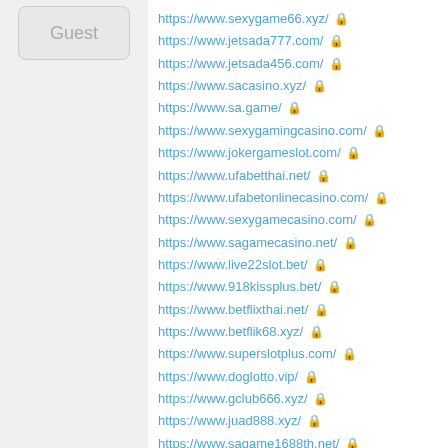[Figure (other): Guest avatar/button box with rounded corners and grey background]
https://www.sexygame66.xyz/ 🔒
https://www.jetsada777.com/ 🔒
https://www.jetsada456.com/ 🔒
https://www.sacasino.xyz/ 🔒
https://www.sa.game/ 🔒
https://www.sexygamingcasino.com/ 🔒
https://www.jokergameslot.com/ 🔒
https://www.ufabetthai.net/ 🔒
https://www.ufabetonlinecasino.com/ 🔒
https://www.sexygamecasino.com/ 🔒
https://www.sagamecasino.net/ 🔒
https://www.live22slot.bet/ 🔒
https://www.918kissplus.bet/ 🔒
https://www.betflixthai.net/ 🔒
https://www.betflik68.xyz/ 🔒
https://www.superslotplus.com/ 🔒
https://www.doglotto.vip/ 🔒
https://www.gclub666.xyz/ 🔒
https://www.juad888.xyz/ 🔒
https://www.sagame1688th.net/ 🔒
https://www.sexybaccaratgame.net/ 🔒
https://www.jilislot.vip/ 🔒
https://www.evolutiongaming-thai.com/ 🔒
https://www.allbetvip.net/ 🔒